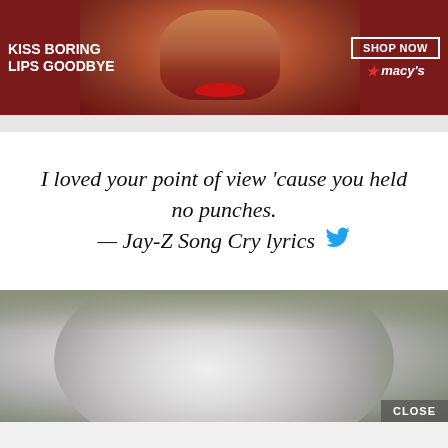[Figure (photo): Macy's advertisement banner with red background showing a woman with red lips. Text reads 'KISS BORING LIPS GOODBYE' on the left, 'SHOP NOW' button with Macy's star logo on the right.]
I loved your point of view 'cause you held no punches.
— Jay-Z Song Cry lyrics
[Figure (photo): Close-up photo of a white/grey fuzzy hat or beanie against an olive/green background. A 'CLOSE' button appears in the bottom right corner.]
[Figure (photo): Victoria's Secret advertisement banner with pink background showing a woman, VS logo, and text 'SHOP THE COLLECTION' with a 'SHOP NOW' white button.]